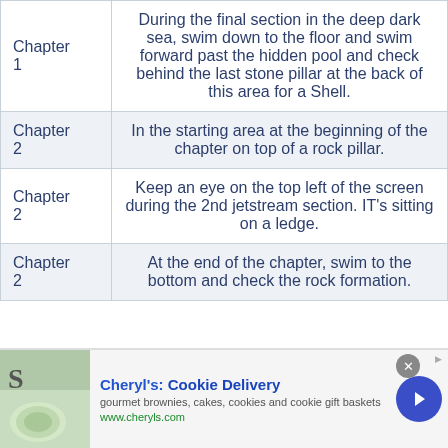|  |  |
| --- | --- |
| Chapter 1 | During the final section in the deep dark sea, swim down to the floor and swim forward past the hidden pool and check behind the last stone pillar at the back of this area for a Shell. |
| Chapter 2 | In the starting area at the beginning of the chapter on top of a rock pillar. |
| Chapter 2 | Keep an eye on the top left of the screen during the 2nd jetstream section. IT's sitting on a ledge. |
| Chapter 2 | At the end of the chapter, swim to the bottom and check the rock formation. |
[Figure (infographic): Advertisement banner for Cheryl's Cookie Delivery showing food image on left, text in center with title, subtitle and URL, and arrow button on right.]